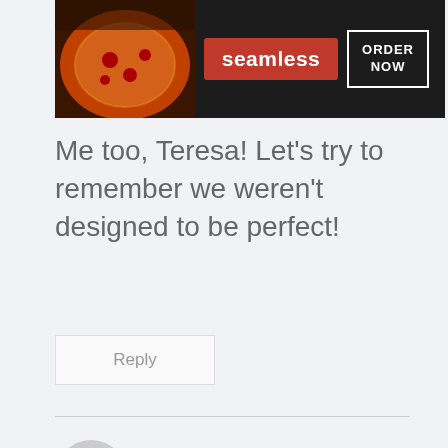[Figure (screenshot): Seamless food delivery advertisement banner with pizza image, red Seamless logo, and ORDER NOW button on dark background]
Me too, Teresa! Let's try to remember we weren't designed to be perfect!
Reply
Amy Jung says:
Oh loo
[Figure (screenshot): Bloomingdale's advertisement with logo, 'View Today's Top Deals!' text, fashion model image, and SHOP NOW button. CLOSE button above.]